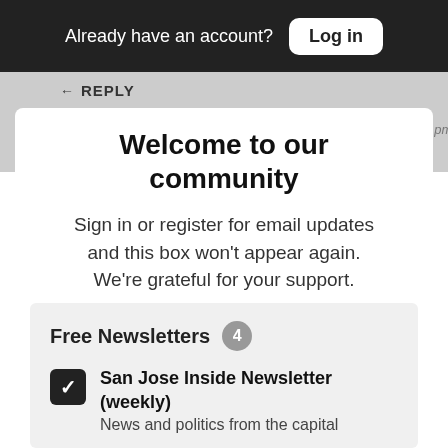Already have an account? Log in
← REPLY
∨ Close
JUAN DE LEON  Jul 9, 2016 @ 10:12 pm
Welcome to our community
Sign in or register for email updates and this box won't appear again. We're grateful for your support.
By registering you confirm you are 21+.
Free Newsletters 4
San Jose Inside Newsletter (weekly)
News and politics from the capital